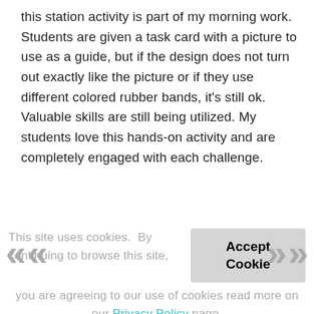this station activity is part of my morning work. Students are given a task card with a picture to use as a guide, but if the design does not turn out exactly like the picture or if they use different colored rubber bands, it's still ok. Valuable skills are still being utilized. My students love this hands-on activity and are completely engaged with each challenge.
This site uses cookies. By continuing to browse this site, you are agreeing to our use of cookies read more on our Privacy Policy page.